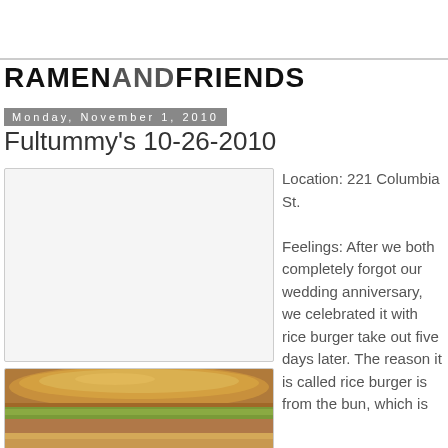RAMENANDFRIENDS
Monday, November 1, 2010
Fultummy's 10-26-2010
[Figure (photo): White/blank placeholder image box with light gray border]
[Figure (photo): Photo of a rice burger with lettuce and a golden bun, partially cut showing the interior]
Location: 221 Columbia St.

Feelings: After we both completely forgot our wedding anniversary, we celebrated it with rice burger take out five days later. The reason it is called rice burger is from the bun, which is